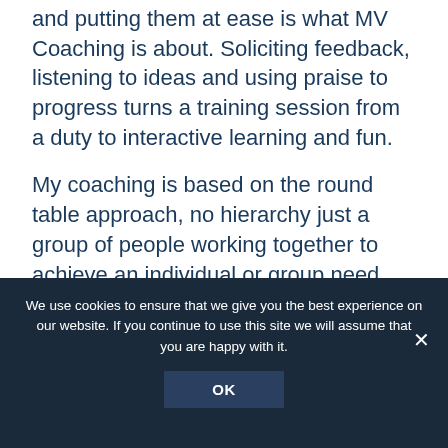and putting them at ease is what MV Coaching is about. Soliciting feedback, listening to ideas and using praise to progress turns a training session from a duty to interactive learning and fun.
My coaching is based on the round table approach, no hierarchy just a group of people working together to achieve an individual or group need, with one exception, safety, which has recently been put to the test. Flipping a quad is not easy but it happened. My crew listened and acted on my word, we secured the crew and the boat in a
We use cookies to ensure that we give you the best experience on our website. If you continue to use this site we will assume that you are happy with it.
OK